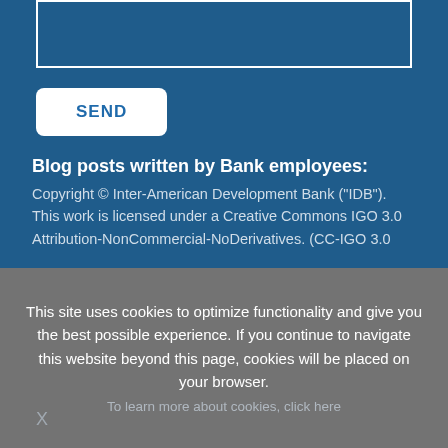[Figure (other): Empty white input/text box with white border on blue background]
SEND
Blog posts written by Bank employees:
Copyright © Inter-American Development Bank ("IDB"). This work is licensed under a Creative Commons IGO 3.0 Attribution-NonCommercial-NoDerivatives. (CC-IGO 3.0
This site uses cookies to optimize functionality and give you the best possible experience. If you continue to navigate this website beyond this page, cookies will be placed on your browser.
To learn more about cookies, click here
X